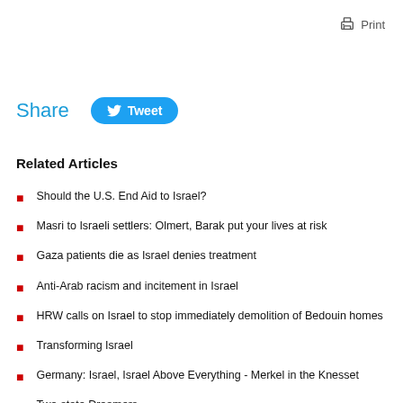Print
Share
Tweet
Related Articles
Should the U.S. End Aid to Israel?
Masri to Israeli settlers: Olmert, Barak put your lives at risk
Gaza patients die as Israel denies treatment
Anti-Arab racism and incitement in Israel
HRW calls on Israel to stop immediately demolition of Bedouin homes
Transforming Israel
Germany: Israel, Israel Above Everything - Merkel in the Knesset
Two-state Dreamers
Jewish extremists assault Palestinian graveyard